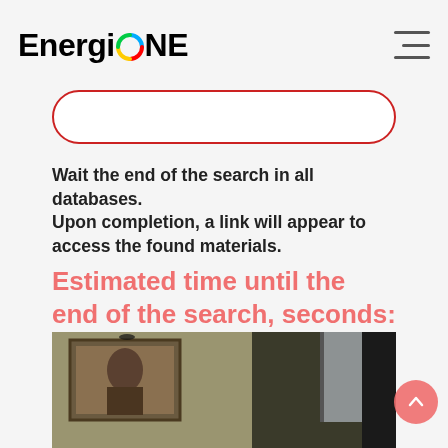[Figure (logo): EnergiONE logo with colorful circular icon between 'Energi' and 'NE' text]
Wait the end of the search in all databases.
Upon completion, a link will appear to access the found materials.
Estimated time until the end of the search, seconds: 56
[Figure (photo): Painting or artwork showing a scene with a figure and framed picture on wall, interior room setting]